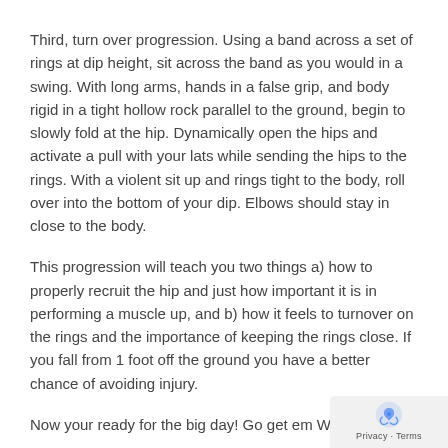Third, turn over progression. Using a band across a set of rings at dip height, sit across the band as you would in a swing. With long arms, hands in a false grip, and body rigid in a tight hollow rock parallel to the ground, begin to slowly fold at the hip. Dynamically open the hips and activate a pull with your lats while sending the hips to the rings. With a violent sit up and rings tight to the body, roll over into the bottom of your dip. Elbows should stay in close to the body.
This progression will teach you two things a) how to properly recruit the hip and just how important it is in performing a muscle up, and b) how it feels to turnover on the rings and the importance of keeping the rings close. If you fall from 1 foot off the ground you have a better chance of avoiding injury.
Now your ready for the big day! Go get em Wodstar!
P.S. Don't forget to stretch and mobilize the shoulders. Warm muscle is safe muscle.